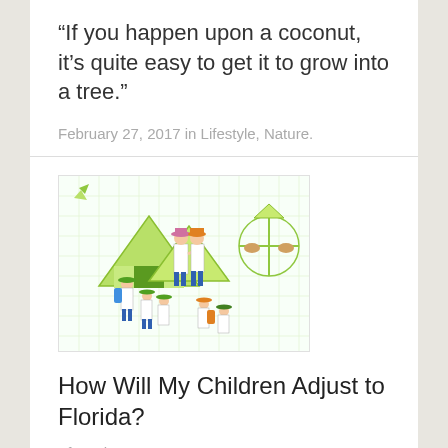“If you happen upon a coconut, it’s quite easy to get it to grow into a tree.”
February 27, 2017 in Lifestyle, Nature.
[Figure (illustration): Colorful illustration of children with hats on a school field trip or outdoor excursion, with green tent structures and a carousel in the background. A teacher or guide stands on elevated ground pointing, while several children in green and orange hats stand below.]
How Will My Children Adjust to Florida?
“If you happen upon a...